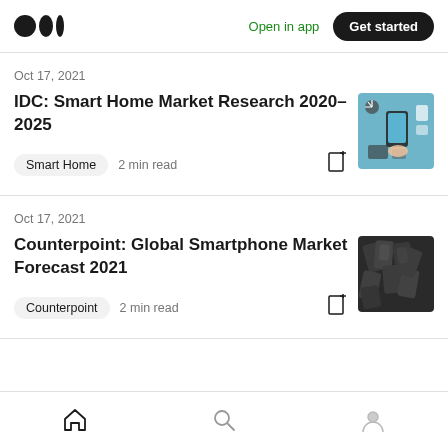Medium logo | Open in app | Get started
Oct 17, 2021
IDC: Smart Home Market Research 2020–2025
Smart Home  2 min read
[Figure (photo): Smart home devices illustration with hand holding smartphone against blue background]
Oct 17, 2021
Counterpoint: Global Smartphone Market Forecast 2021
Counterpoint  2 min read
[Figure (photo): Pile of smartphones photographed from above]